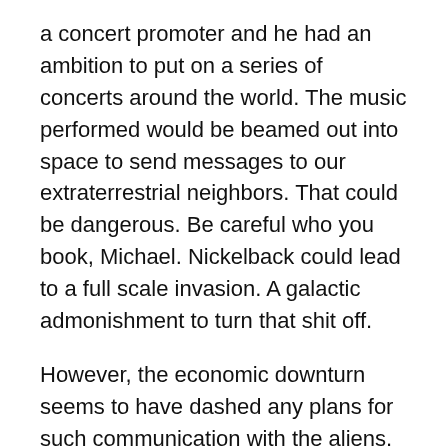a concert promoter and he had an ambition to put on a series of concerts around the world. The music performed would be beamed out into space to send messages to our extraterrestrial neighbors. That could be dangerous. Be careful who you book, Michael. Nickelback could lead to a full scale invasion. A galactic admonishment to turn that shit off.
However, the economic downturn seems to have dashed any plans for such communication with the aliens. The concerts have yet to be performed.
Speaking of alien invasion, I guess it's time to let you know, dear reader, if ‘I Ran’ really was about alien abduction. It turns out that, yes, it is. I found that the entire 1982 self-titled album is a concept piece dealing with extraterrestrials coming to our planet.